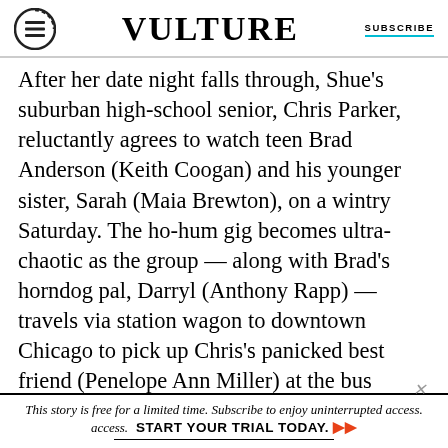VULTURE | SUBSCRIBE
After her date night falls through, Shue's suburban high-school senior, Chris Parker, reluctantly agrees to watch teen Brad Anderson (Keith Coogan) and his younger sister, Sarah (Maia Brewton), on a wintry Saturday. The ho-hum gig becomes ultra-chaotic as the group — along with Brad's horndog pal, Darryl (Anthony Rapp) — travels via station wagon to downtown Chicago to pick up Chris's panicked best friend (Penelope Ann Miller) at the bus station. Along the way, they become embroiled in a car-theft ring, sing in a blues bar, tussle with a
This story is free for a limited time. Subscribe to enjoy uninterrupted access. START YOUR TRIAL TODAY.